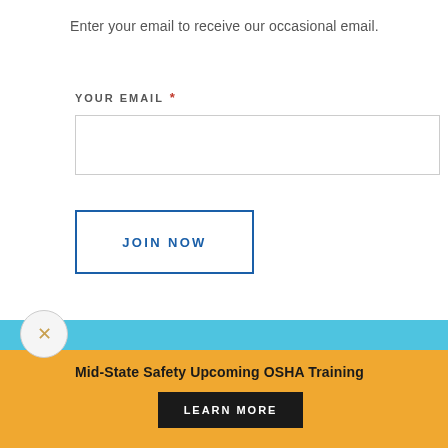Enter your email to receive our occasional email.
YOUR EMAIL *
[Figure (other): Empty email input text field with light gray border]
[Figure (other): JOIN NOW button with blue border and blue text on white background]
[Figure (other): Cyan horizontal bar with downward chevron arrow, above orange notification banner. Contains close (X) button, bold text 'Mid-State Safety Upcoming OSHA Training', and a black LEARN MORE button.]